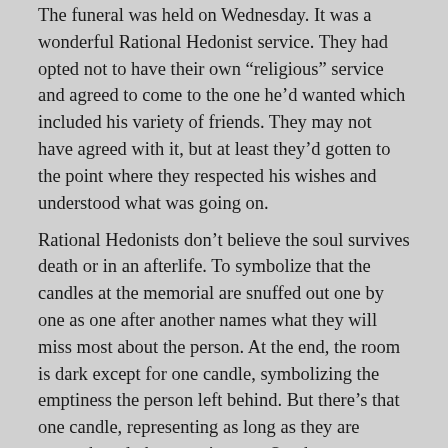The funeral was held on Wednesday. It was a wonderful Rational Hedonist service. They had opted not to have their own “religious” service and agreed to come to the one he’d wanted which included his variety of friends. They may not have agreed with it, but at least they’d gotten to the point where they respected his wishes and understood what was going on.
Rational Hedonists don’t believe the soul survives death or in an afterlife. To symbolize that the candles at the memorial are snuffed out one by one as one after another names what they will miss most about the person. At the end, the room is dark except for one candle, symbolizing the emptiness the person left behind. But there’s that one candle, representing as long as they are remembered, they aren’t gone. One by one now, someone tells of a special memory of something the deceased said or did. One by one the candles are relit. As long as we remember, he isn’t gone. The family was touched at the things people said of